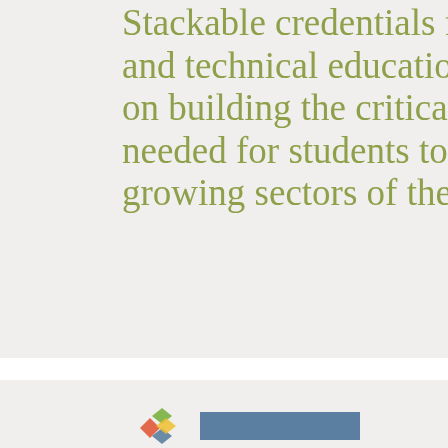Stackable credentials focus on vocational and technical education programs that focus on building the critical skills needed for students to advance in growing sectors of the economy.
By awarding credit for a range of education, training, learning and skill building experiences that "stack" toward degrees, stackable credential programs help working adults get the skills they need to advance on the job and earn credentials that enable further study – at the same time. This accelerates credential attainment and may increase the likelihood of degree completion.
[Figure (logo): Colorful diamond/chevron logo at bottom left of lower card section]
[Figure (other): Teal/steel blue horizontal bar element in lower card section]